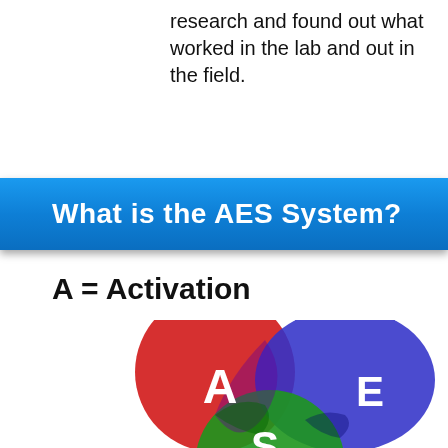research and found out what worked in the lab and out in the field.
What is the AES System?
A = Activation
[Figure (infographic): Venn diagram with three overlapping circles: red circle labeled A (Activation), blue circle labeled E, and green circle labeled S (partially visible at bottom). The circles overlap in the center.]